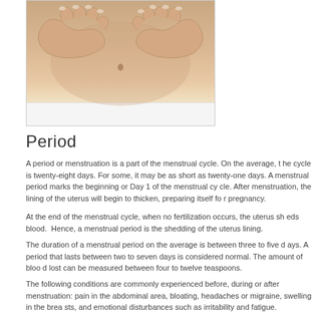[Figure (photo): Close-up photo of a woman's abdomen with hands forming a heart shape over the belly button area, wearing white underwear at the bottom.]
Period
A period or menstruation is a part of the menstrual cycle. On the average, the cycle is twenty-eight days. For some, it may be as short as twenty-one days. A menstrual period marks the beginning or Day 1 of the menstrual cycle. After menstruation, the lining of the uterus will begin to thicken, preparing itself for pregnancy.
At the end of the menstrual cycle, when no fertilization occurs, the uterus sheds blood. Hence, a menstrual period is the shedding of the uterus lining.
The duration of a menstrual period on the average is between three to five days. A period that lasts between two to seven days is considered normal. The amount of blood lost can be measured between four to twelve teaspoons.
The following conditions are commonly experienced before, during or after menstruation: pain in the abdominal area, bloating, headaches or migraine, swelling in the breasts, and emotional disturbances such as irritability and fatigue.